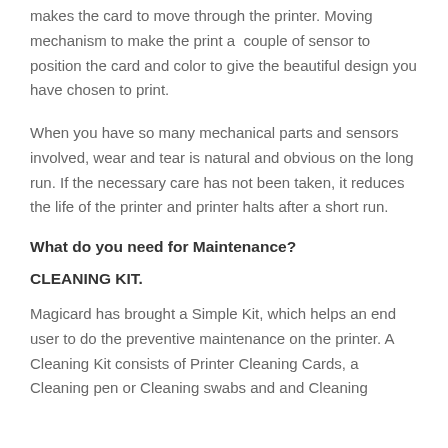makes the card to move through the printer. Moving mechanism to make the print a couple of sensor to position the card and color to give the beautiful design you have chosen to print.
When you have so many mechanical parts and sensors involved, wear and tear is natural and obvious on the long run. If the necessary care has not been taken, it reduces the life of the printer and printer halts after a short run.
What do you need for Maintenance?
CLEANING KIT.
Magicard has brought a Simple Kit, which helps an end user to do the preventive maintenance on the printer. A Cleaning Kit consists of Printer Cleaning Cards, a Cleaning pen or Cleaning swabs and and Cleaning